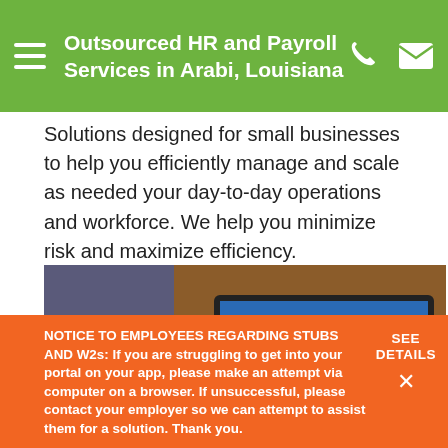Outsourced HR and Payroll Services in Arabi, Louisiana
Solutions designed for small businesses to help you efficiently manage and scale as needed your day-to-day operations and workforce. We help you minimize risk and maximize efficiency.
[Figure (photo): Person typing on a laptop computer at a wooden desk, with a smartphone beside the laptop. The laptop screen shows a lock screen with time 2:58 and 'Good afternoon, Melanie' text over a scenic mountain background.]
NOTICE TO EMPLOYEES REGARDING STUBS AND W2s: If you are struggling to get into your portal on your app, please make an attempt via computer on a browser. If unsuccessful, please contact your employer so we can attempt to assist them for a solution. Thank you.